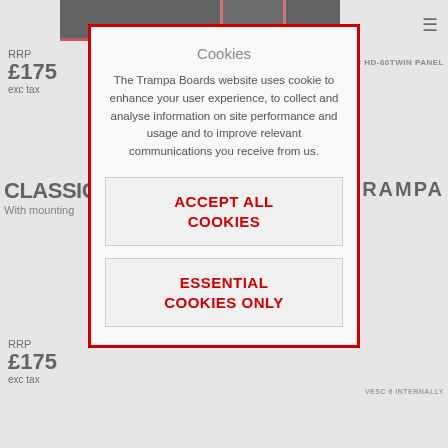RRP
£175
exc tax
C HD-60TWIN PANEL
CLASSIC MO
With mounting
TRAMPA
RRP
£175
exc tax
VESC 6 INTERNALLY
Cookies
The Trampa Boards website uses cookie to enhance your user experience, to collect and analyse information on site performance and usage and to improve relevant communications you receive from us.
ACCEPT ALL COOKIES
ESSENTIAL COOKIES ONLY